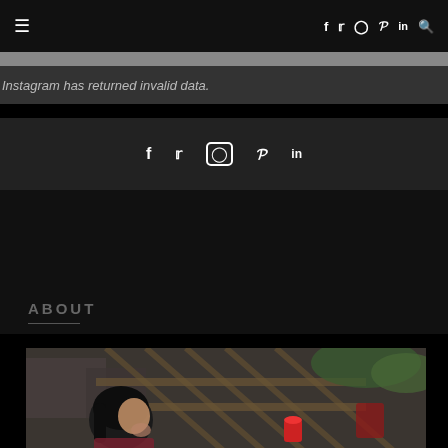≡   f  t  ⊙  P  in  🔍
Instagram has returned invalid data.
[Figure (other): Social media icons row: Facebook, Twitter, Instagram, Pinterest, LinkedIn]
ABOUT
[Figure (photo): Person with dark hair sitting outdoors on a wooden deck/pallet structure, looking down, with plants and red objects visible in background. Vintage/desaturated color treatment.]